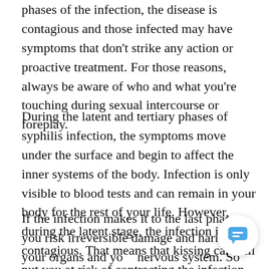phases of the infection, the disease is contagious and those infected may have symptoms that don't strike any action or proactive treatment. For those reasons, always be aware of who and what you're touching during sexual intercourse or foreplay.
During the latent and tertiary phases of syphilis infection, the symptoms move under the surface and begin to affect the inner systems of the body. Infection is only visible to blood tests and can remain in your body for the rest of your life. However, during the latent stage, the infection is still contagious. That means that kissing can still put you at risk of contracting the infection from someone that is infected.
If the infection makes it to the last phase, you risk irreversible damage and harm to your organs and your nervous system. So much so that you risk dementia, neurosyphilis, and death. Although extremely harmful, this
[Figure (other): Chat widget button (circular, white background with blue chat bubble icon) overlaid in lower-right corner]